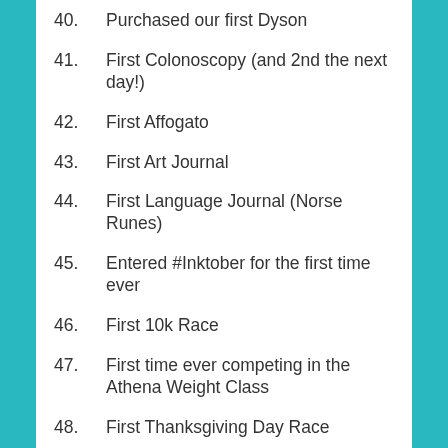40. Purchased our first Dyson
41. First Colonoscopy (and 2nd the next day!)
42. First Affogato
43. First Art Journal
44. First Language Journal (Norse Runes)
45. Entered #Inktober for the first time ever
46. First 10k Race
47. First time ever competing in the Athena Weight Class
48. First Thanksgiving Day Race
49. Mapped my future goals using a specific system
50. Started writing my first novel as a solo writer